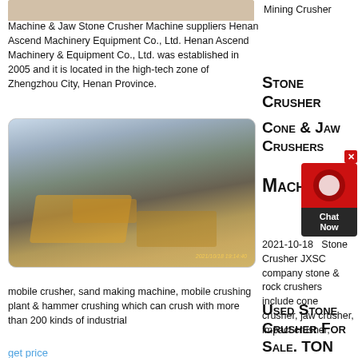[Figure (photo): Top partial image of mining crusher equipment, cropped at top]
Mining Crusher Machine & Jaw Stone Crusher Machine suppliers Henan Ascend Machinery Equipment Co., Ltd. Henan Ascend Machinery & Equipment Co., Ltd. was established in 2005 and it is located in the high-tech zone of Zhengzhou City, Henan Province.
get price
Stone Crusher
Cone & Jaw Crushers Machine
[Figure (photo): Photo of mobile stone crushing plant with conveyor belts and machinery on gravel ground]
[Figure (other): Chat Now widget with red background and chat icon]
2021-10-18   Stone Crusher JXSC company stone & rock crushers include cone crusher, jaw crusher, impact crusher, mobile crusher, sand making machine, mobile crushing plant & hammer crushing which can crush with more than 200 kinds of industrial
get price
Used Stone Crusher For Sale. TON Equipment &
[Figure (photo): Photo of large orange industrial cone crushers against blue sky]